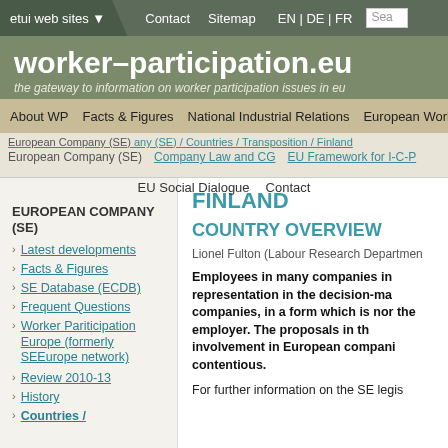etui web sites  Contact  Sitemap  EN | DE | FR  Sea
worker-participation.eu
the gateway to information on worker participation issues in eu
About WP  Facts & Figures  National Industrial Relations  European Works Councils
European Company (SE) / Countries / Transposition / Finland
European Company (SE)  Company Law and CG  EU Framework for I-C-P
EU Social Dialogue  Contact
EUROPEAN COMPANY (SE)
Latest developments
Facts & Figures
SE Database (ECDB)
Frequent Questions
Worker Pariticipation Europe (formerly SEEurope network)
Review 2010-13
History
Countries /
FINLAND
COUNTRY OVERVIEW
Lionel Fulton (Labour Research Departmen
Employees in many companies in representation in the decision-ma companies, in a form which is nor the employer. The proposals in th involvement in European compani contentious.
For further information on the SE legis